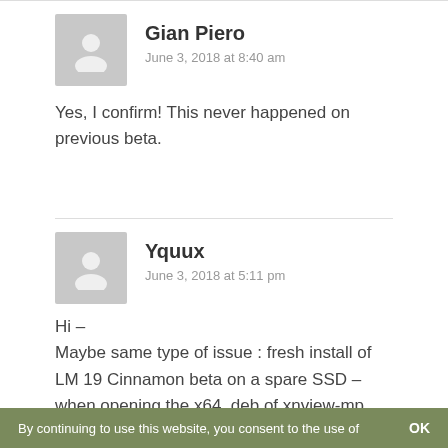[Figure (illustration): Gray user avatar placeholder icon for Gian Piero]
Gian Piero
June 3, 2018 at 8:40 am
Yes, I confirm! This never happened on previous beta.
[Figure (illustration): Gray user avatar placeholder icon for Yquux]
Yquux
June 3, 2018 at 5:11 pm
Hi –
Maybe same type of issue : fresh install of LM 19 Cinnamon beta on a spare SSD – when opening the x64 .deb of xnview-mp, Gdebi will open,
By continuing to use this website, you consent to the use of
OK